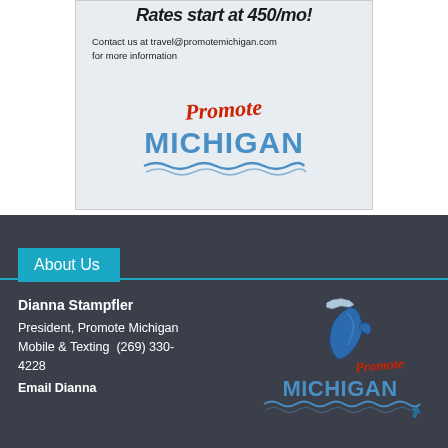[Figure (illustration): Promote Michigan advertisement box with rates text, contact email, and Promote Michigan logo (red cursive 'Promote' over blue 'MICHIGAN' text with wave underline)]
About Us
Dianna Stampfler
President, Promote Michigan
Mobile & Texting  (269) 330-4228
Email Dianna
[Figure (logo): Promote Michigan logo with Michigan state shape outline and 'Promote Michigan' text in blue with red cursive Promote and wave underline]